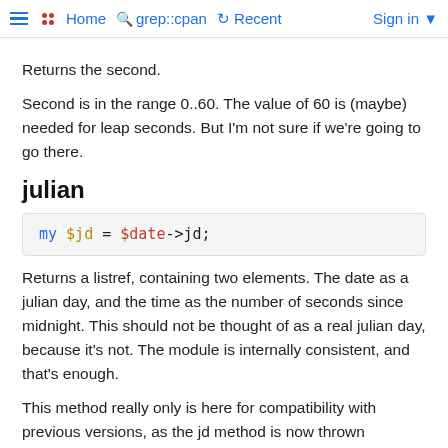≡ •• Home  🔍 grep::cpan  ↺ Recent  Sign in ▾
Returns the second.
Second is in the range 0..60. The value of 60 is (maybe) needed for leap seconds. But I'm not sure if we're going to go there.
julian
my $jd = $date->jd;
Returns a listref, containing two elements. The date as a julian day, and the time as the number of seconds since midnight. This should not be thought of as a real julian day, because it's not. The module is internally consistent, and that's enough.
This method really only is here for compatibility with previous versions, as the jd method is now thrown